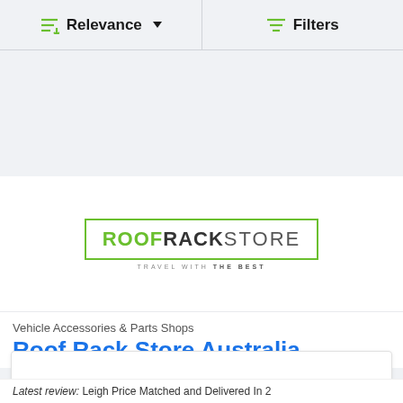[Figure (screenshot): Toolbar with sort by Relevance dropdown and Filters button with green icons]
[Figure (logo): Roof Rack Store logo with green border and tagline TRAVEL WITH THE BEST]
Vehicle Accessories & Parts Shops
Roof Rack Store Australia
Latest review: Leigh Price Matched and Delivered In 2